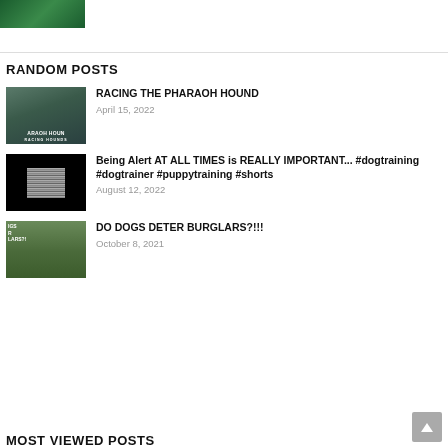[Figure (photo): Top image thumbnail showing green surface with rope]
RANDOM POSTS
[Figure (photo): Thumbnail for Racing the Pharaoh Hound article]
RACING THE PHARAOH HOUND
April 15, 2022
[Figure (photo): Thumbnail showing dark screen/TV static]
Being Alert AT ALL TIMES is REALLY IMPORTANT... #dogtraining #dogtrainer #puppytraining #shorts
August 12, 2022
[Figure (photo): Thumbnail showing burglar and dogs]
DO DOGS DETER BURGLARS?!!!
October 8, 2021
MOST VIEWED POSTS